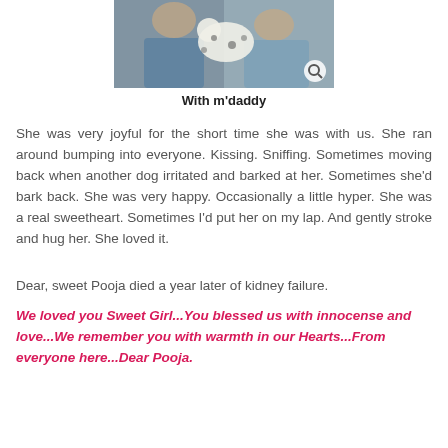[Figure (photo): Partial photo of a person holding a dalmatian puppy, cropped at the top. A magnifying glass search icon is visible in the bottom right corner of the image.]
With m'daddy
She was very joyful for the short time she was with us. She ran around bumping into everyone. Kissing. Sniffing. Sometimes moving back when another dog irritated and barked at her. Sometimes she'd bark back. She was very happy. Occasionally a little hyper. She was a real sweetheart. Sometimes I'd put her on my lap. And gently stroke and hug her. She loved it.
Dear, sweet Pooja died a year later of kidney failure.
We loved you Sweet Girl...You blessed us with innocense and love...We remember you with warmth in our Hearts...From everyone here...Dear Pooja.